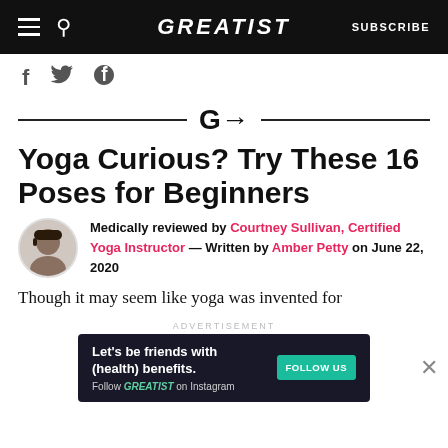GREATIST | SUBSCRIBE
[Figure (other): Social sharing icons: Facebook (f), Twitter (bird), Pinterest (p)]
[Figure (logo): Greatist G arrow logo divider with horizontal rules on both sides]
Yoga Curious? Try These 16 Poses for Beginners
Medically reviewed by Courtney Sullivan, Certified Yoga Instructor — Written by Amber Petty on June 22, 2020
Though it may seem like yoga was invented for
ADVERTISEMENT
[Figure (infographic): Advertisement banner: Let's be friends with (health) benefits. Follow GREATIST on Instagram. FOLLOW US button.]